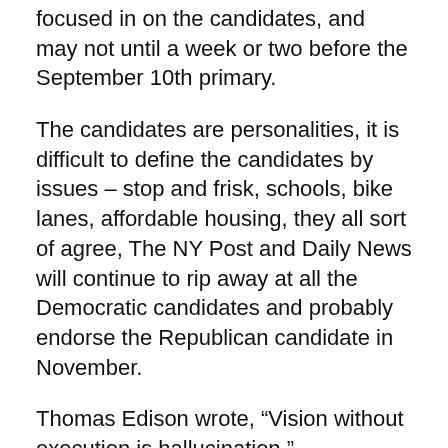focused in on the candidates, and may not until a week or two before the September 10th primary.
The candidates are personalities, it is difficult to define the candidates by issues – stop and frisk, schools, bike lanes, affordable housing, they all sort of agree, The NY Post and Daily News will continue to rip away at all the Democratic candidates and probably endorse the Republican candidate in November.
Thomas Edison wrote, “Vision without execution is hallucination.”
The stakes are high for the union – an early commitment to a candidate, a maximum effort, UFT president Mulgrew pushed all his chips to the center of the table, “we’re all in.” If Thompson stumbles and does not make the runoff